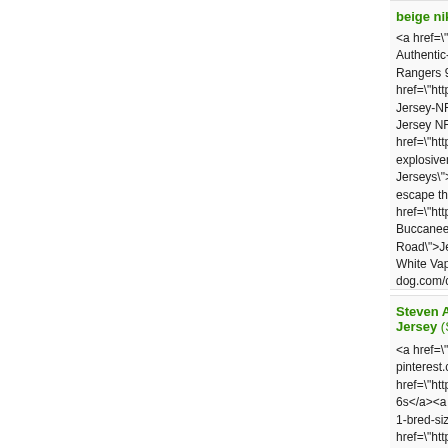beige nike air max...
<a href="http://www.Authentic-Navy-Blue Rangers 93 Authentic href="http://www.nn Jersey-NFL-Nike-Ne Jersey NFL Nike Ne href="http://www.nn explosiveness-but-e Jerseys">Nick OLe escape the effect of href="http://www.nn Buccaneers-75-Dav Road">Jersey Yout White Vapor Untouc dog.com/cheap/beig
Samedi 03 Novembre 2...
Steven Adams Okl Jersey (Site) dit:
<a href="http://www. pinterest.com">925 href="http://www.ba 6s</a><a href="http 1-bred-size-7">air j href="http://www.ba twitter.com">adidas Thunder 12 Black C http://www.jewelryw 12-Black-Camo-Fas
Samedi 03 Novembre 2...